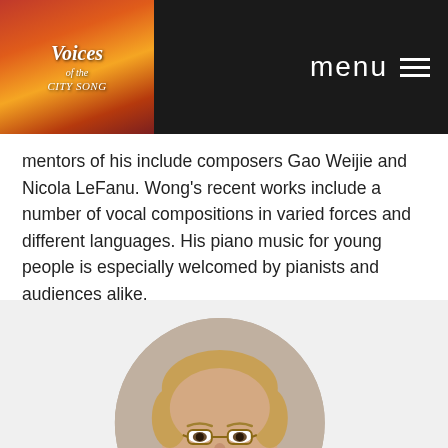Voices | menu
mentors of his include composers Gao Weijie and Nicola LeFanu. Wong's recent works include a number of vocal compositions in varied forces and different languages. His piano music for young people is especially welcomed by pianists and audiences alike.
LEARN MORE ▶
[Figure (photo): Circular portrait photo of a middle-aged man with short blond hair and glasses, wearing a dark shirt, against a light gray background.]